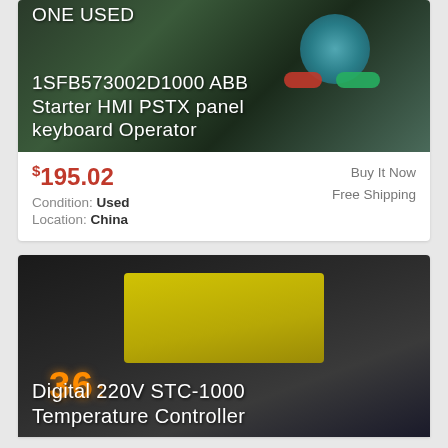[Figure (photo): Photo of ABB Starter HMI PSTX panel keyboard Operator with teal circular keypad, red Stop button and green Start button on dark background, with white overlay text reading 'ONE USED 1SFB573002D1000 ABB Starter HMI PSTX panel keyboard Operator']
$195.02
Condition: Used
Location: China
Buy It Now
Free Shipping
[Figure (photo): Photo of a Digital 220V STC-1000 Temperature Controller device with yellow label, red clips, orange LED display showing '36', and black casing with ventilation slots. White overlay text at bottom reads 'Digital 220V STC-1000 Temperature Controller']